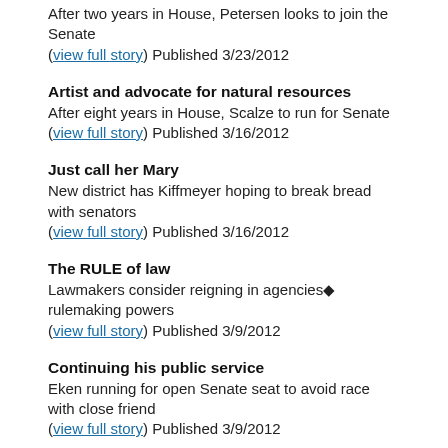After two years in House, Petersen looks to join the Senate (view full story) Published 3/23/2012
Artist and advocate for natural resources
After eight years in House, Scalze to run for Senate (view full story) Published 3/16/2012
Just call her Mary
New district has Kiffmeyer hoping to break bread with senators (view full story) Published 3/16/2012
The RULE of law
Lawmakers consider reigning in agencies◆ rulemaking powers (view full story) Published 3/9/2012
Continuing his public service
Eken running for open Senate seat to avoid race with close friend (view full story) Published 3/9/2012
Renewable energy advocate
Knuth proud of her accomplishments in the House (view full story) Published 3/9/2012